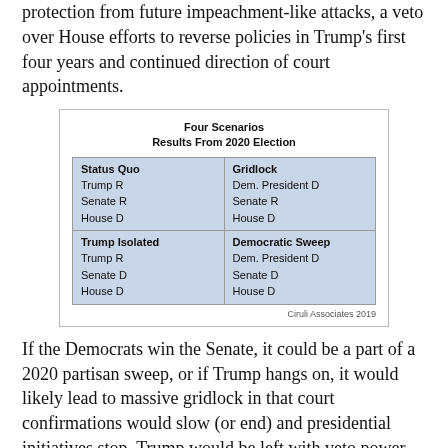protection from future impeachment-like attacks, a veto over House efforts to reverse policies in Trump's first four years and continued direction of court appointments.
[Figure (table-as-image): Four Scenarios - Results From 2020 Election. A 2x2 grid showing: Status Quo (Trump R, Senate R, House D), Gridlock (Dem. President D, Senate R, House D), Trump Isolated (Trump R, Senate D, House D), Democratic Sweep (Dem. President D, Senate D, House D). Credit: Ciruli Associates 2019]
If the Democrats win the Senate, it could be a part of a 2020 partisan sweep, or if Trump hangs on, it would likely lead to massive gridlock in that court confirmations would slow (or end) and presidential initiatives stop. Trump would be left with veto power, but exercising it frequently and the budget would be a potent limiting tool for the Democrats.
To take control of the Senate, Democrats need a net of three seats and the vice presidency or four new seats. Since most analysts hold that they will lose the Alabama seat held by